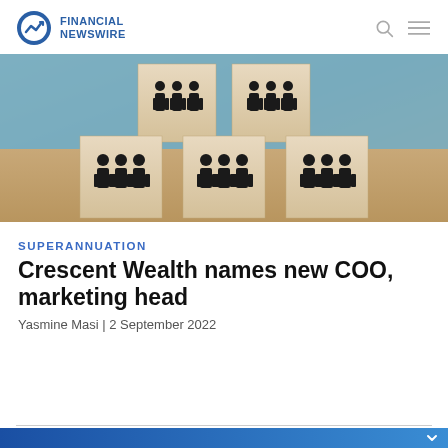FINANCIAL NEWSWIRE
[Figure (photo): Wooden blocks arranged in a pyramid formation, each block face showing groups of people silhouette icons, on a wooden surface with blurred blue background.]
SUPERANNUATION
Crescent Wealth names new COO, marketing head
Yasmine Masi | 2 September 2022